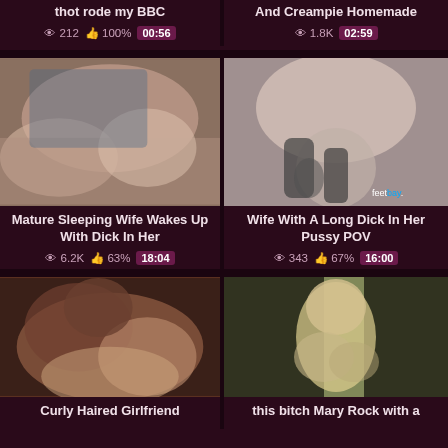thot rode my BBC
212  100%  00:56
And Creampie Homemade
1.8K  02:59
[Figure (photo): Video thumbnail showing adult content]
Mature Sleeping Wife Wakes Up With Dick In Her
6.2K  63%  18:04
[Figure (photo): Video thumbnail showing adult content with feetbay watermark]
Wife With A Long Dick In Her Pussy POV
343  67%  16:00
[Figure (photo): Video thumbnail showing adult content]
Curly Haired Girlfriend
[Figure (photo): Video thumbnail showing adult content]
this bitch Mary Rock with a